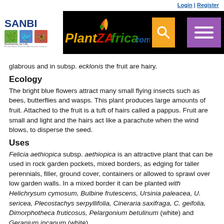Login | Register
[Figure (screenshot): PlantZAfrica.com website navigation bar with SANBI logo on left, PlantZAfrica.com logo in center, search icon and menu icon on right]
glabrous and in subsp. ecklonis the fruit are hairy.
Ecology
The bright blue flowers attract many small flying insects such as bees, butterflies and wasps. This plant produces large amounts of fruit. Attached to the fruit is a tuft of hairs called a pappus. Fruit are small and light and the hairs act like a parachute when the wind blows, to disperse the seed.
Uses
Felicia aethiopica subsp. aethiopica is an attractive plant that can be used in rock garden pockets, mixed borders, as edging for taller perennials, filler, ground cover, containers or allowed to sprawl over low garden walls. In a mixed border it can be planted with Helichrysum cymosum, Bulbine frutescens, Ursinia paleacea, U. sericea, Plecostachys serpyllifolia, Cineraria saxifraga, C. geifolia, Dimorphotheca fruticosus, Pelargonium betulinum (white) and Geranium incanum (white).